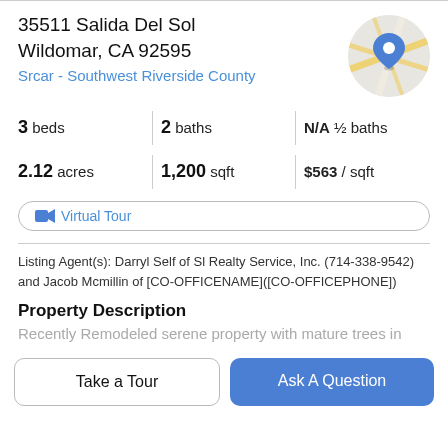35511 Salida Del Sol
Wildomar, CA 92595
Srcar - Southwest Riverside County
[Figure (map): Circular map thumbnail with street map and blue location pin marker]
3 beds | 2 baths | N/A ½ baths | 2.12 acres | 1,200 sqft | $563 / sqft
Virtual Tour
Listing Agent(s): Darryl Self of Sl Realty Service, Inc. (714-338-9542) and Jacob Mcmillin of [CO-OFFICENAME]([CO-OFFICEPHONE])
Property Description
Recently Remodeled serene property with mature trees in
Take a Tour
Ask A Question